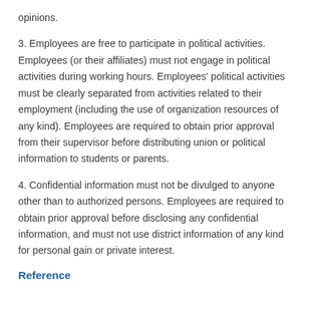opinions.
3. Employees are free to participate in political activities. Employees (or their affiliates) must not engage in political activities during working hours. Employees' political activities must be clearly separated from activities related to their employment (including the use of organization resources of any kind). Employees are required to obtain prior approval from their supervisor before distributing union or political information to students or parents.
4. Confidential information must not be divulged to anyone other than to authorized persons. Employees are required to obtain prior approval before disclosing any confidential information, and must not use district information of any kind for personal gain or private interest.
Reference